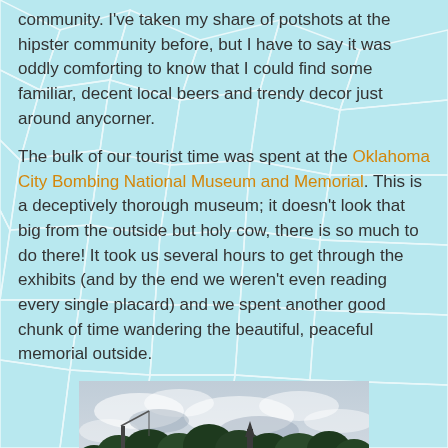community. I've taken my share of potshots at the hipster community before, but I have to say it was oddly comforting to know that I could find some familiar, decent local beers and trendy decor just around anycorner.
The bulk of our tourist time was spent at the Oklahoma City Bombing National Museum and Memorial. This is a deceptively thorough museum; it doesn't look that big from the outside but holy cow, there is so much to do there! It took us several hours to get through the exhibits (and by the end we weren't even reading every single placard) and we spent another good chunk of time wandering the beautiful, peaceful memorial outside.
[Figure (photo): Outdoor photograph of the Oklahoma City Bombing National Memorial, showing a reflective pool in the foreground with trees and a cloudy sky in the background.]